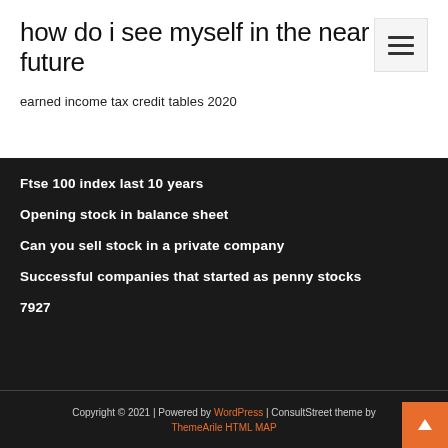how do i see myself in the near future
earned income tax credit tables 2020
Ftse 100 index last 10 years
Opening stock in balance sheet
Can you sell stock in a private company
Successful companies that started as penny stocks
7927
Copyright © 2021 | Powered by WordPress | ConsultStreet theme by ThemeArile HTML MAP